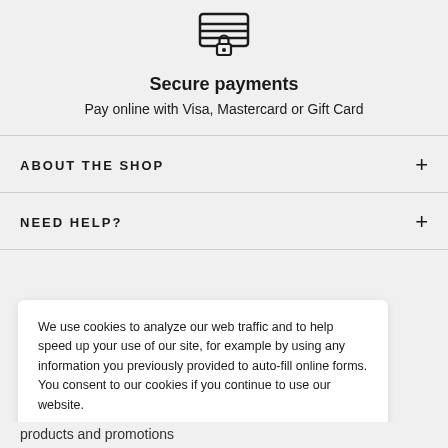[Figure (illustration): Secure payment icon: a card/display with a lock symbol]
Secure payments
Pay online with Visa, Mastercard or Gift Card
ABOUT THE SHOP
NEED HELP?
We use cookies to analyze our web traffic and to help speed up your use of our site, for example by using any information you previously provided to auto-fill online forms. You consent to our cookies if you continue to use our website.
Accept Cookies
products and promotions